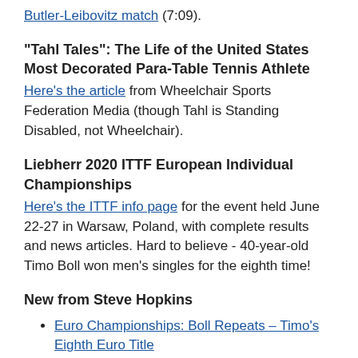Butler-Leibovitz match (7:09).
"Tahl Tales": The Life of the United States Most Decorated Para-Table Tennis Athlete
Here's the article from Wheelchair Sports Federation Media (though Tahl is Standing Disabled, not Wheelchair).
Liebherr 2020 ITTF European Individual Championships
Here's the ITTF info page for the event held June 22-27 in Warsaw, Poland, with complete results and news articles. Hard to believe - 40-year-old Timo Boll won men's singles for the eighth time!
New from Steve Hopkins
Euro Championships: Boll Repeats – Timo's Eighth Euro Title
Euro Championships: Final Four